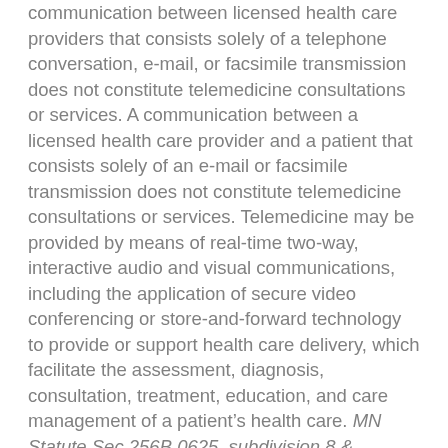communication between licensed health care providers that consists solely of a telephone conversation, e-mail, or facsimile transmission does not constitute telemedicine consultations or services. A communication between a licensed health care provider and a patient that consists solely of an e-mail or facsimile transmission does not constitute telemedicine consultations or services. Telemedicine may be provided by means of real-time two-way, interactive audio and visual communications, including the application of secure video conferencing or store-and-forward technology to provide or support health care delivery, which facilitate the assessment, diagnosis, consultation, treatment, education, and care management of a patient's health care. MN Statute Sec 256B.0625, subdivision 8 & 147.033
I understand I have the following rights with respect to teletherapy: